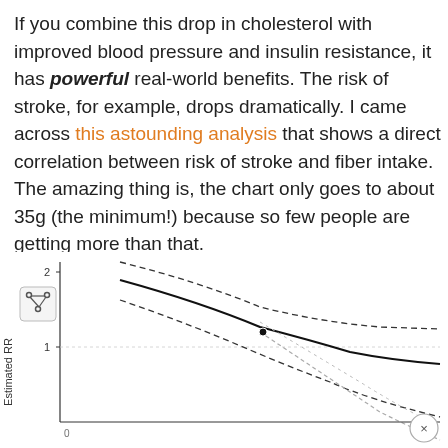If you combine this drop in cholesterol with improved blood pressure and insulin resistance, it has powerful real-world benefits. The risk of stroke, for example, drops dramatically. I came across this astounding analysis that shows a direct correlation between risk of stroke and fiber intake. The amazing thing is, the chart only goes to about 35g (the minimum!) because so few people are getting more than that.
[Figure (continuous-plot): A line chart showing estimated relative risk (RR) on y-axis versus fiber intake. Shows a curved descending line with confidence interval bands (dashed lines), starting high around 2 on the left and decreasing to about 0.7 on the right. The main curve is solid black, confidence intervals are dashed. The lower confidence band extends further down. Y-axis label reads 'Estimated RR', marked at 1 and 2. A share button icon is overlaid on the upper-left of the chart.]